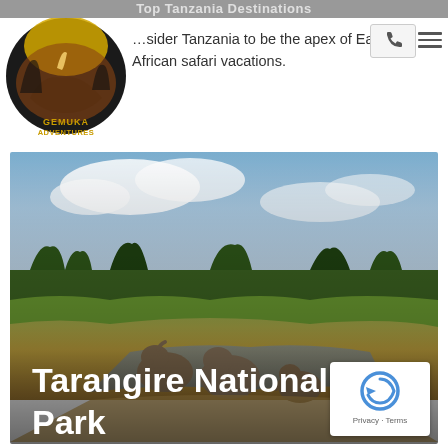Top Tanzania Destinations
[Figure (logo): Gemuka Adventures logo — circular badge with rhino illustration and text GEMUKA ADVENTURES]
…sider Tanzania to be the apex of East African safari vacations.
[Figure (photo): Safari landscape photo showing elephants crossing a stream in a savanna wetland area with trees and cloudy sky in background, labeled Tarangire National Park]
Tarangire National Park